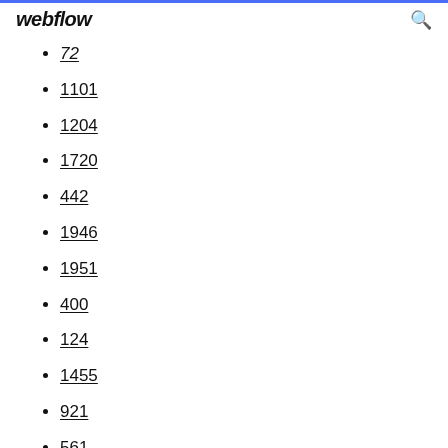webflow
72
1101
1204
1720
442
1946
1951
400
124
1455
921
561
1293